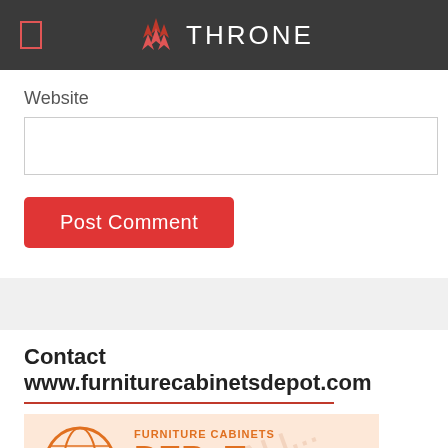THRONE
Website
Post Comment
Contact www.furniturecabinetsdepot.com
[Figure (logo): Furniture Cabinets Depot logo with globe icon, orange text reading FURNITURE CABINETS DEPOT, subtitle GLOBAL SOURCING AND INSPECTION]